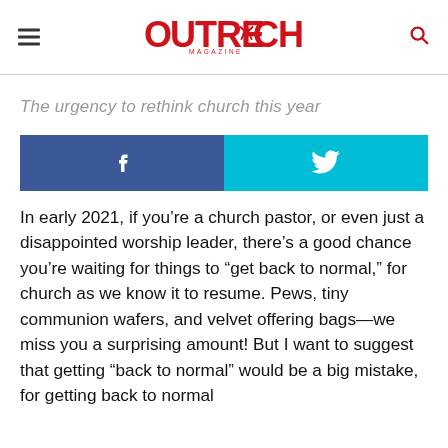Outreach Magazine
The urgency to rethink church this year
[Figure (infographic): Social share buttons: Facebook (blue) and Twitter (cyan)]
In early 2021, if you’re a church pastor, or even just a disappointed worship leader, there’s a good chance you’re waiting for things to “get back to normal,” for church as we know it to resume. Pews, tiny communion wafers, and velvet offering bags—we miss you a surprising amount! But I want to suggest that getting “back to normal” would be a big mistake, for getting back to normal